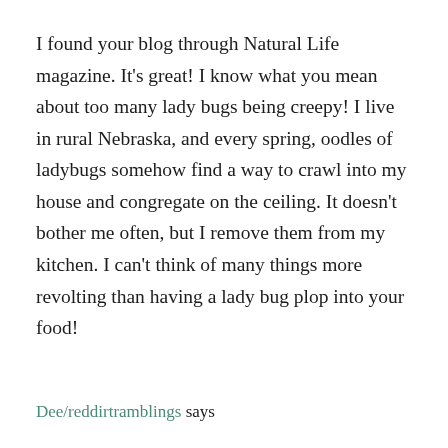I found your blog through Natural Life magazine. It's great! I know what you mean about too many lady bugs being creepy! I live in rural Nebraska, and every spring, oodles of ladybugs somehow find a way to crawl into my house and congregate on the ceiling. It doesn't bother me often, but I remove them from my kitchen. I can't think of many things more revolting than having a lady bug plop into your food!
Dee/reddirtramblings says